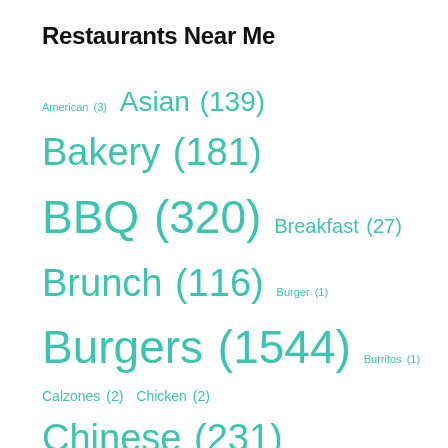Restaurants Near Me
American (3) Asian (139) Bakery (181) BBQ (320) Breakfast (27) Brunch (116) Burger (1) Burgers (1544) Burritos (1) Calzones (2) Chicken (2) Chinese (231) Desserts (54) Diners (130) Dinner (41) Fish & Chips (113) Greek (135) Grill (1) Hamburgers (1) Healthy (251) Indian (247) Italian (336) ...